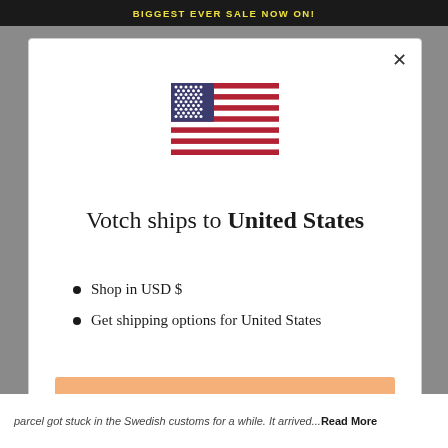BIGGEST EVER SALE NOW ON!
[Figure (illustration): US flag emoji/icon showing stars and stripes]
Votch ships to United States
Shop in USD $
Get shipping options for United States
Shop now
Change shipping country
parcel got stuck in the Swedish customs for a while. It arrived...Read More